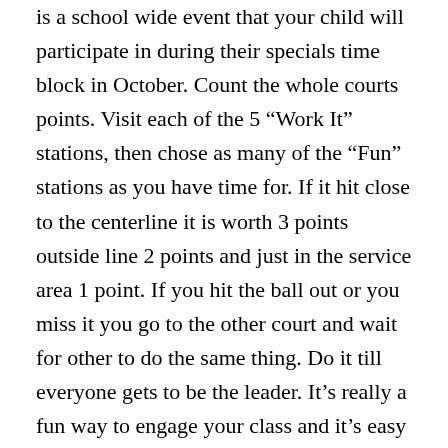is a school wide event that your child will participate in during their specials time block in October. Count the whole courts points. Visit each of the 5 “Work It” stations, then chose as many of the “Fun” stations as you have time for. If it hit close to the centerline it is worth 3 points outside line 2 points and just in the service area 1 point. If you hit the ball out or you miss it you go to the other court and wait for other to do the same thing. Do it till everyone gets to be the leader. It’s really a fun way to engage your class and it’s easy to set up as well. 5.SWBAT use the forehand with correct form in a game situation. Creating stations for your physical education classes allows students to participate in a wide variety of activities. Use